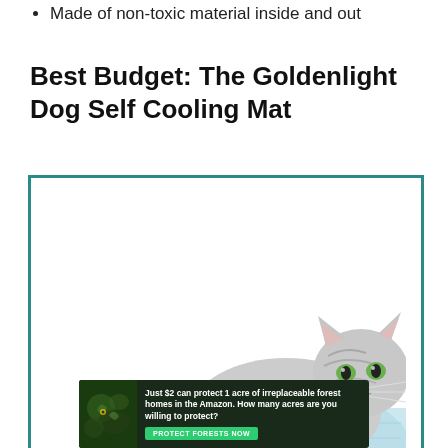Made of non-toxic material inside and out
Best Budget: The Goldenlight Dog Self Cooling Mat
[Figure (photo): A tabby cat lying on a light blue self-cooling mat, with a teal border around the image area.]
[Figure (infographic): Advertisement banner: 'Just $2 can protect 1 acre of irreplaceable forest homes in the Amazon. How many acres are you willing to protect?' with a green 'PROTECT FORESTS NOW' button and a dark forest background with animal imagery.]